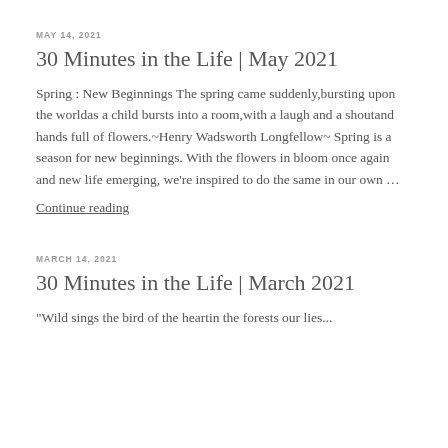MAY 14, 2021
30 Minutes in the Life | May 2021
Spring : New Beginnings The spring came suddenly,bursting upon the worldas a child bursts into a room,with a laugh and a shoutand hands full of flowers.~Henry Wadsworth Longfellow~ Spring is a season for new beginnings. With the flowers in bloom once again and new life emerging, we're inspired to do the same in our own …
Continue reading
MARCH 14, 2021
30 Minutes in the Life | March 2021
"Wild sings the bird of the heartin the forests our lies..."